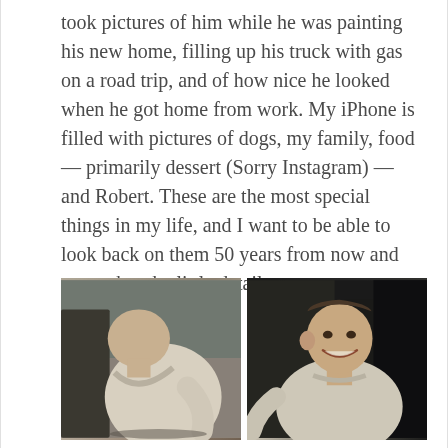took pictures of him while he was painting his new home, filling up his truck with gas on a road trip, and of how nice he looked when he got home from work. My iPhone is filled with pictures of dogs, my family, food — primarily dessert (Sorry Instagram) — and Robert. These are the most special things in my life, and I want to be able to look back on them 50 years from now and remember the little details my own memory might forget.
[Figure (photo): Two side-by-side photographs of a young man in a light grey hoodie near a car. Left photo: man bent over looking down, side profile. Right photo: man turned smiling at camera in dark setting.]